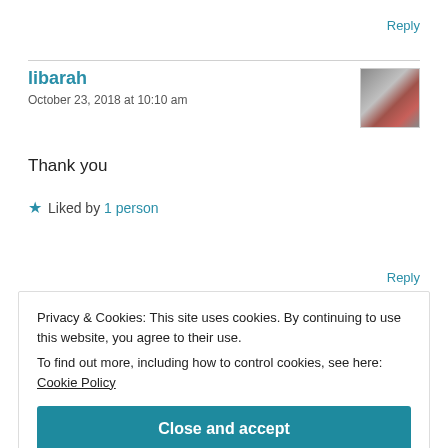Reply
libarah
October 23, 2018 at 10:10 am
Thank you
★ Liked by 1 person
Reply
Privacy & Cookies: This site uses cookies. By continuing to use this website, you agree to their use.
To find out more, including how to control cookies, see here: Cookie Policy
Close and accept